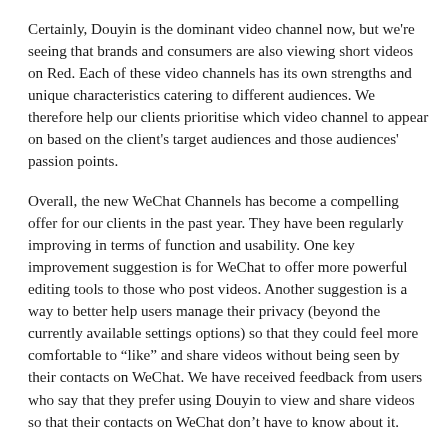Certainly, Douyin is the dominant video channel now, but we're seeing that brands and consumers are also viewing short videos on Red. Each of these video channels has its own strengths and unique characteristics catering to different audiences. We therefore help our clients prioritise which video channel to appear on based on the client's target audiences and those audiences' passion points.
Overall, the new WeChat Channels has become a compelling offer for our clients in the past year. They have been regularly improving in terms of function and usability. One key improvement suggestion is for WeChat to offer more powerful editing tools to those who post videos. Another suggestion is a way to better help users manage their privacy (beyond the currently available settings options) so that they could feel more comfortable to “like” and share videos without being seen by their contacts on WeChat. We have received feedback from users who say that they prefer using Douyin to view and share videos so that their contacts on WeChat don’t have to know about it.